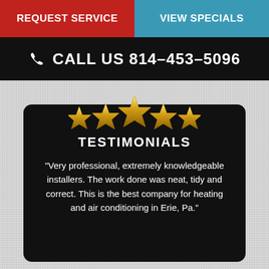REQUEST SERVICE
VIEW SPECIALS
CALL US 814-453-5096
[Figure (illustration): Five gold stars arranged in a row]
TESTIMONIALS
“Very professional, extremely knowledgeable installers. The work done was neat, tidy and correct. This is the best company for heating and air conditioning in Erie, Pa.”